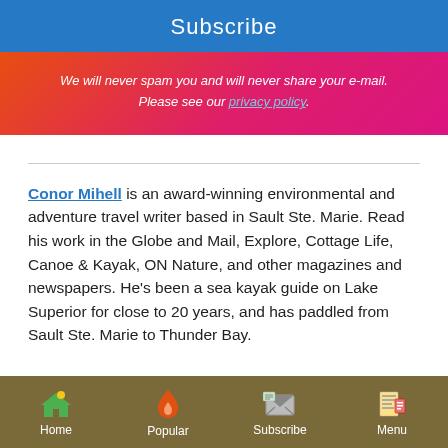Subscribe
We will never spam you and will never share your e-mail. Please see our privacy policy.
Conor Mihell is an award-winning environmental and adventure travel writer based in Sault Ste. Marie. Read his work in the Globe and Mail, Explore, Cottage Life, Canoe & Kayak, ON Nature, and other magazines and newspapers. He's been a sea kayak guide on Lake Superior for close to 20 years, and has paddled from Sault Ste. Marie to Thunder Bay.
Home | Popular | Subscribe | Menu